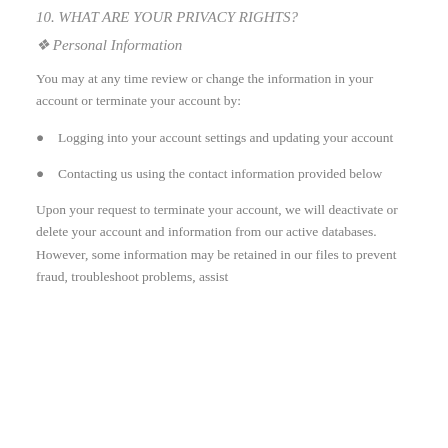10. WHAT ARE YOUR PRIVACY RIGHTS?
❖ Personal Information
You may at any time review or change the information in your account or terminate your account by:
● Logging into your account settings and updating your account
● Contacting us using the contact information provided below
Upon your request to terminate your account, we will deactivate or delete your account and information from our active databases. However, some information may be retained in our files to prevent fraud, troubleshoot problems, assist